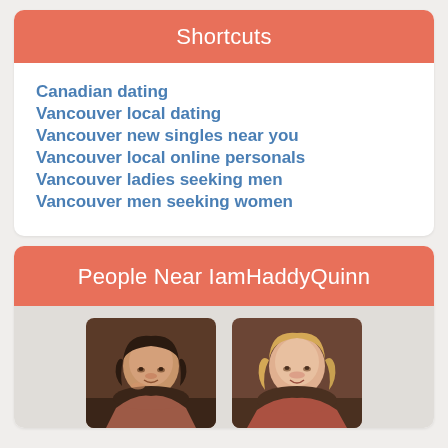Shortcuts
Canadian dating
Vancouver local dating
Vancouver new singles near you
Vancouver local online personals
Vancouver ladies seeking men
Vancouver men seeking women
People Near IamHaddyQuinn
[Figure (photo): Two profile photos of women near IamHaddyQuinn: a dark-haired woman on the left and a blonde woman on the right]